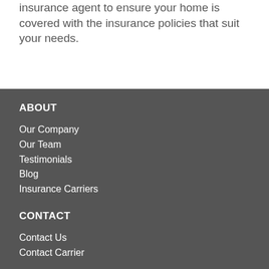insurance agent to ensure your home is covered with the insurance policies that suit your needs.
ABOUT
Our Company
Our Team
Testimonials
Blog
Insurance Carriers
CONTACT
Contact Us
Contact Carrier